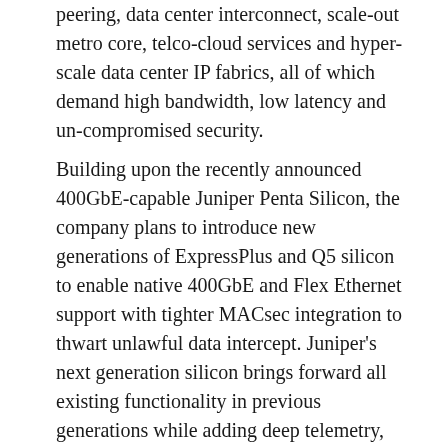peering, data center interconnect, scale-out metro core, telco-cloud services and hyper-scale data center IP fabrics, all of which demand high bandwidth, low latency and uncompromised security.
Building upon the recently announced 400GbE-capable Juniper Penta Silicon, the company plans to introduce new generations of ExpressPlus and Q5 silicon to enable native 400GbE and Flex Ethernet support with tighter MACsec integration to thwart unlawful data intercept. Juniper's next generation silicon brings forward all existing functionality in previous generations while adding deep telemetry, SPRINGv6 and VXLAN EVPN support.